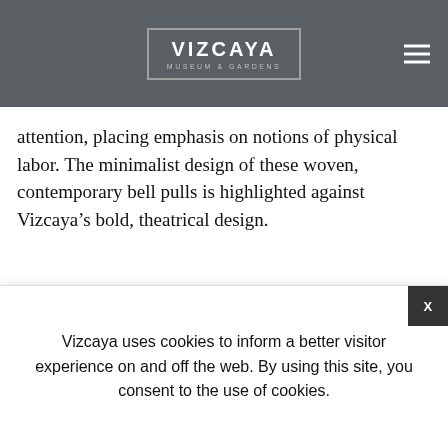VIZCAYA MUSEUM & GARDENS
attention, placing emphasis on notions of physical labor. The minimalist design of these woven, contemporary bell pulls is highlighted against Vizcaya’s bold, theatrical design.
GALLERY
Vizcaya uses cookies to inform a better visitor experience on and off the web. By using this site, you consent to the use of cookies.